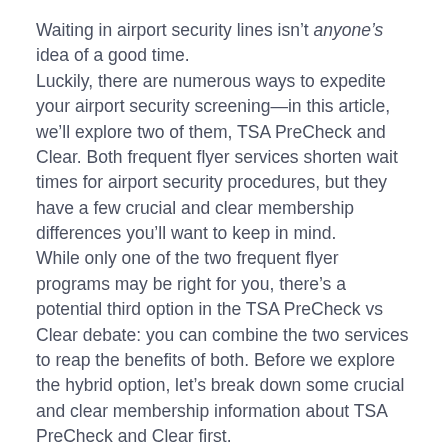Waiting in airport security lines isn't anyone's idea of a good time.
Luckily, there are numerous ways to expedite your airport security screening—in this article, we'll explore two of them, TSA PreCheck and Clear. Both frequent flyer services shorten wait times for airport security procedures, but they have a few crucial and clear membership differences you'll want to keep in mind.
While only one of the two frequent flyer programs may be right for you, there's a potential third option in the TSA PreCheck vs Clear debate: you can combine the two services to reap the benefits of both. Before we explore the hybrid option, let's break down some crucial and clear membership information about TSA PreCheck and Clear first.